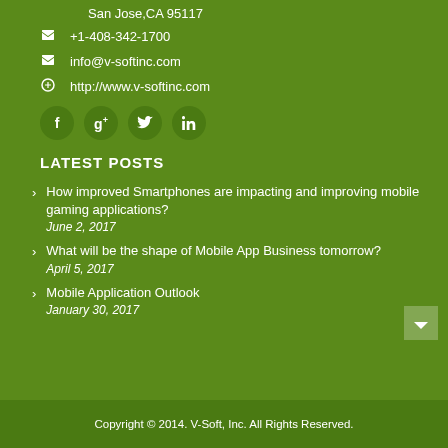San Jose,CA 95117
+1-408-342-1700
info@v-softinc.com
http://www.v-softinc.com
[Figure (infographic): Social media icons: Facebook, Google+, Twitter, LinkedIn]
LATEST POSTS
How improved Smartphones are impacting and improving mobile gaming applications?
June 2, 2017
What will be the shape of Mobile App Business tomorrow?
April 5, 2017
Mobile Application Outlook
January 30, 2017
Copyright © 2014. V-Soft, Inc. All Rights Reserved.